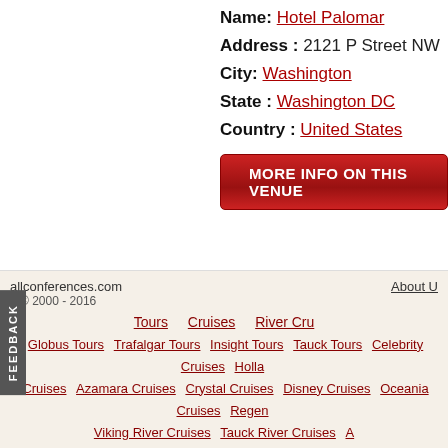Name: Hotel Palomar
Address: 2121 P Street NW
City: Washington
State: Washington DC
Country: United States
MORE INFO ON THIS VENUE
FEEDBACK
allconferences.com © 2000 - 2016 | About U | Tours Cruises River Cru | Globus Tours Trafalgar Tours Insight Tours Tauck Tours Celebrity Cruises Holla Cruises Azamara Cruises Crystal Cruises Disney Cruises Oceania Cruises Regen Viking River Cruises Tauck River Cruises A